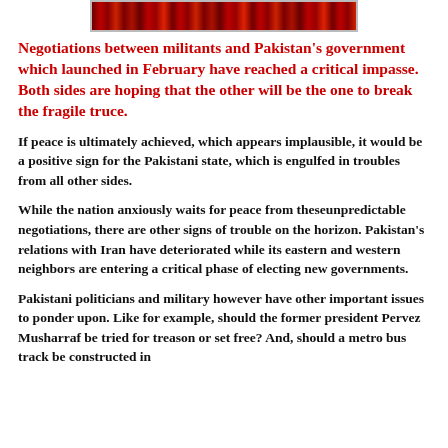[Figure (photo): Partial image strip at top of page showing a dark red/brown horizontal band, appears to be a cropped photo]
Negotiations between militants and Pakistan's government which launched in February have reached a critical impasse. Both sides are hoping that the other will be the one to break the fragile truce.
If peace is ultimately achieved, which appears implausible, it would be a positive sign for the Pakistani state, which is engulfed in troubles from all other sides.
While the nation anxiously waits for peace from theseunpredictable negotiations, there are other signs of trouble on the horizon. Pakistan's relations with Iran have deteriorated while its eastern and western neighbors are entering a critical phase of electing new governments.
Pakistani politicians and military however have other important issues to ponder upon. Like for example, should the former president Pervez Musharraf be tried for treason or set free? And, should a metro bus track be constructed in